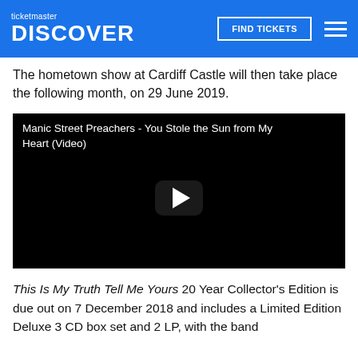ticketmaster DISCOVER | FIND TICKETS
The hometown show at Cardiff Castle will then take place the following month, on 29 June 2019.
[Figure (screenshot): Embedded YouTube video player showing Manic Street Preachers - You Stole the Sun from My Heart (Video), with a play button in the center on a black background.]
This Is My Truth Tell Me Yours 20 Year Collector's Edition is due out on 7 December 2018 and includes a Limited Edition Deluxe 3 CD box set and 2 LP, with the band